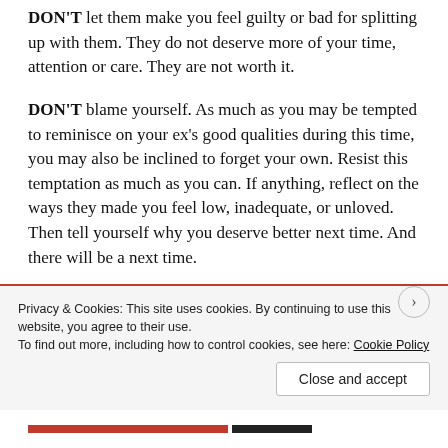DON'T let them make you feel guilty or bad for splitting up with them. They do not deserve more of your time, attention or care. They are not worth it.
DON'T blame yourself. As much as you may be tempted to reminisce on your ex's good qualities during this time, you may also be inclined to forget your own. Resist this temptation as much as you can. If anything, reflect on the ways they made you feel low, inadequate, or unloved. Then tell yourself why you deserve better next time. And there will be a next time.
DON'T overdo it on the coping mechanisms. Whether it's
Privacy & Cookies: This site uses cookies. By continuing to use this website, you agree to their use.
To find out more, including how to control cookies, see here: Cookie Policy